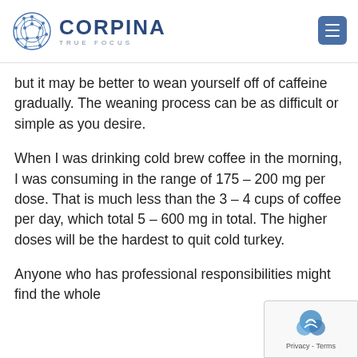CORPINA TRUE FOCUS
but it may be better to wean yourself off of caffeine gradually. The weaning process can be as difficult or simple as you desire.
When I was drinking cold brew coffee in the morning, I was consuming in the range of 175 – 200 mg per dose. That is much less than the 3 – 4 cups of coffee per day, which total 5 – 600 mg in total. The higher doses will be the hardest to quit cold turkey.
Anyone who has professional responsibilities might find the whole